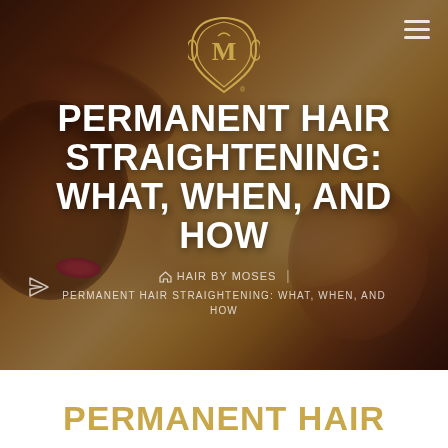[Figure (photo): Hero background photo of a woman with voluminous blonde wavy hair, dark brownish-red gradient tones, with dark overlay. A logo emblem (gold/khaki decorative badge with stylized M and deer/bird) centered at top, hamburger menu icon top right, share/send icon at left side.]
PERMANENT HAIR STRAIGHTENING: WHAT, WHEN, AND HOW
HAIR BY MOSES | PERMANENT HAIR STRAIGHTENING: WHAT, WHEN, AND HOW
PERMANENT HAIR